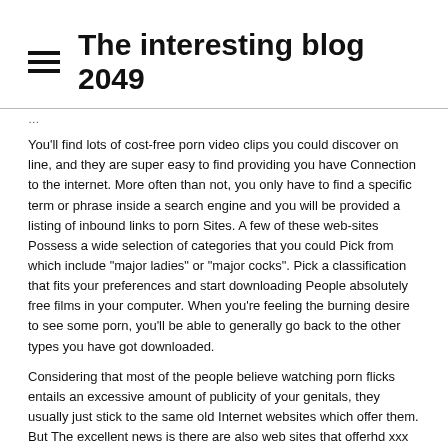The interesting blog 2049
You'll find lots of cost-free porn video clips you could discover on line, and they are super easy to find providing you have Connection to the internet. More often than not, you only have to find a specific term or phrase inside a search engine and you will be provided a listing of inbound links to porn Sites. A few of these web-sites Possess a wide selection of categories that you could Pick from which include "major ladies" or "major cocks". Pick a classification that fits your preferences and start downloading People absolutely free films in your computer. When you're feeling the burning desire to see some porn, you'll be able to generally go back to the other types you have got downloaded.
Considering that most of the people believe watching porn flicks entails an excessive amount of publicity of your genitals, they usually just stick to the same old Internet websites which offer them. But The excellent news is there are also web sites that offerhd xxx and flicks. They are not Ordinarily intended for standard viewing but For additional personal stuff like "beginner" or "teen intercourse".